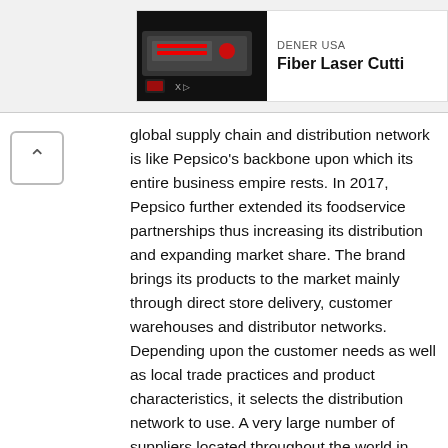[Figure (other): Advertisement banner for DENER USA Fiber Laser Cutting machine, showing product image on left and brand name/product title on right]
global supply chain and distribution network is like Pepsico's backbone upon which its entire business empire rests. In 2017, Pepsico further extended its foodservice partnerships thus increasing its distribution and expanding market share. The brand brings its products to the market mainly through direct store delivery, customer warehouses and distributor networks. Depending upon the customer needs as well as local trade practices and product characteristics, it selects the distribution network to use. A very large number of suppliers located throughout the world in several countries supply Pepsico with raw materials at low